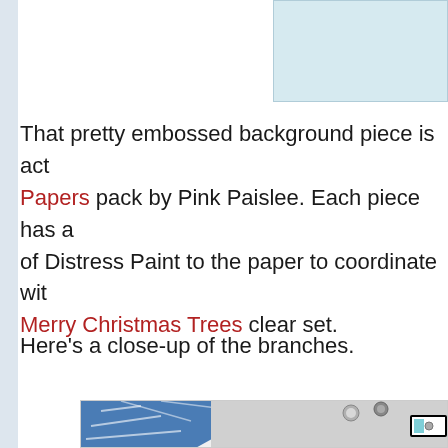[Figure (photo): Top portion of a crafting card image, partially visible — light blue background]
That pretty embossed background piece is act… Papers pack by Pink Paislee. Each piece has a… of Distress Paint to the paper to coordinate wit… Merry Christmas Trees clear set.
Here's a close-up of the branches.
[Figure (photo): Close-up photo of a handmade card showing branches — blue geometric patterned paper in corner, silver brads/gems, small black-framed label elements on white/gray background]